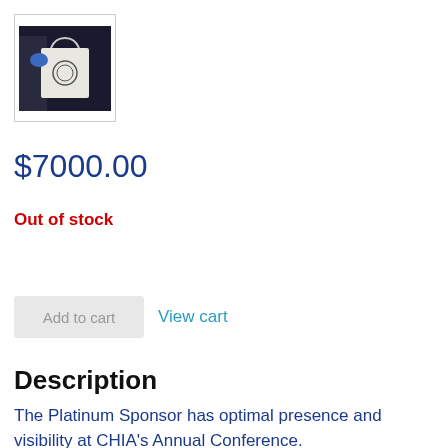[Figure (photo): Photo of a person holding a white tote bag with a logo, dark background]
$7000.00
Out of stock
Add to cart
View cart
Description
The Platinum Sponsor has optimal presence and visibility at CHIA's Annual Conference.